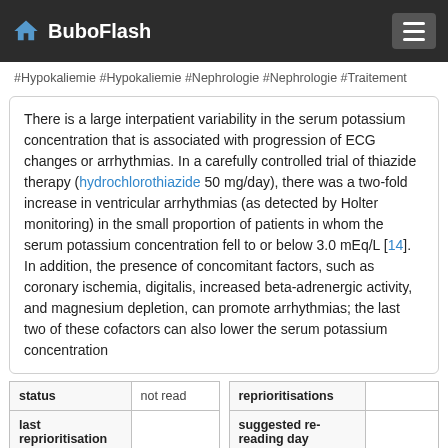BuboFlash
#Hypokaliemie #Hypokaliemie #Nephrologie #Nephrologie #Traitement
There is a large interpatient variability in the serum potassium concentration that is associated with progression of ECG changes or arrhythmias. In a carefully controlled trial of thiazide therapy (hydrochlorothiazide 50 mg/day), there was a two-fold increase in ventricular arrhythmias (as detected by Holter monitoring) in the small proportion of patients in whom the serum potassium concentration fell to or below 3.0 mEq/L [14]. In addition, the presence of concomitant factors, such as coronary ischemia, digitalis, increased beta-adrenergic activity, and magnesium depletion, can promote arrhythmias; the last two of these cofactors can also lower the serum potassium concentration
| status |  |
| --- | --- |
| status | not read |
| last reprioritisation on |  |
| reprioritisations |  |
| --- | --- |
| reprioritisations |  |
| suggested re-reading day |  |